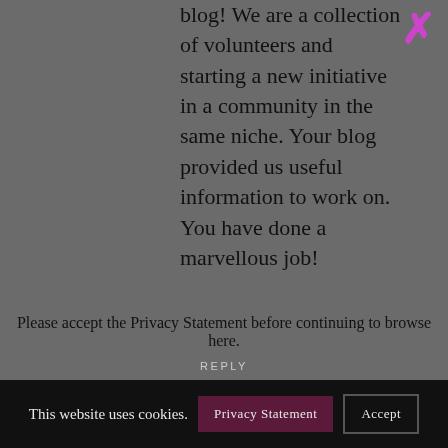blog! We are a collection of volunteers and starting a new initiative in a community in the same niche. Your blog provided us useful information to work on. You have done a marvellous job!
REPLY
MARYJO
23 JANUARY 2021 AT 08:17 / 8:17 AM
Good day! Do you use Twitter? I'd like to follow you if
Privacy Statement
Please accept the Privacy Statement before continuing to browse here.
This website uses cookies.
Privacy Statement
Accept